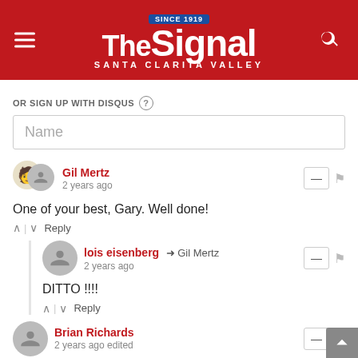The Signal — Santa Clarita Valley
OR SIGN UP WITH DISQUS
Name
Gil Mertz
2 years ago
One of your best, Gary. Well done!
lois eisenberg → Gil Mertz
2 years ago
DITTO !!!!
Brian Richards
2 years ago edited
Well said Gary, an excellent article. I must condemn one thing